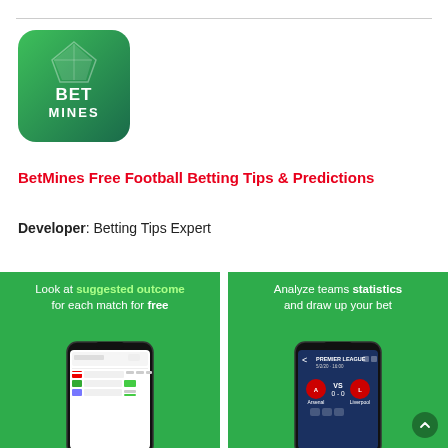[Figure (logo): BetMines app logo — green gradient background with white diamond/gem icon and BET MINES text]
BetMines Free Football Betting Tips & Predictions
Developer: Betting Tips Expert
[Figure (screenshot): App screenshot on green background with text: Look at suggested outcome for each match for free. Shows phone with search/match list screen.]
[Figure (screenshot): App screenshot on green background with text: Analyze teams statistics and draw up your bet. Shows phone with Premier League Arsenal vs Liverpool 0-0 match screen.]